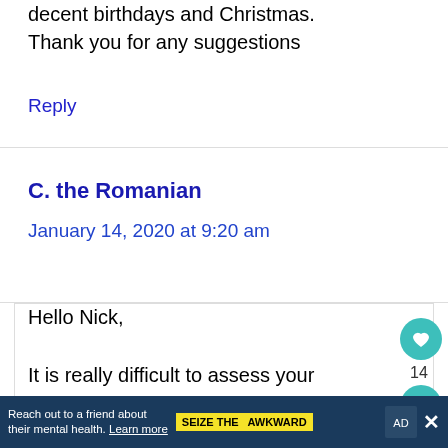decent birthdays and Christmas. Thank you for any suggestions
Reply
C. the Romanian
January 14, 2020 at 9:20 am
Hello Nick,
It is really difficult to assess your situation based on the little
Reach out to a friend about their mental health. Learn more  SEIZE THE AWKWARD